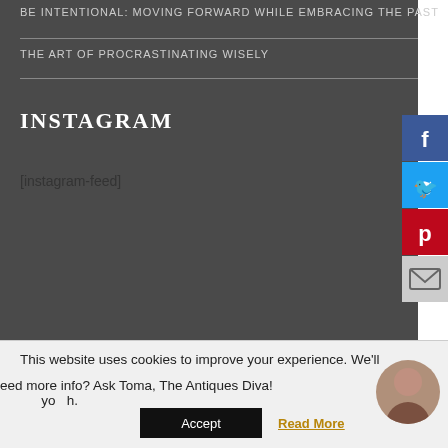BE INTENTIONAL: MOVING FORWARD WHILE EMBRACING THE PAST
THE ART OF PROCRASTINATING WISELY
INSTAGRAM
[instagram-feed]
[Figure (infographic): Social media share buttons sidebar: Facebook (blue), Twitter (cyan), Pinterest (red), Email (gray)]
This website uses cookies to improve your experience. We'll
eed more info? Ask Toma, The Antiques Diva!
Accept
Read More